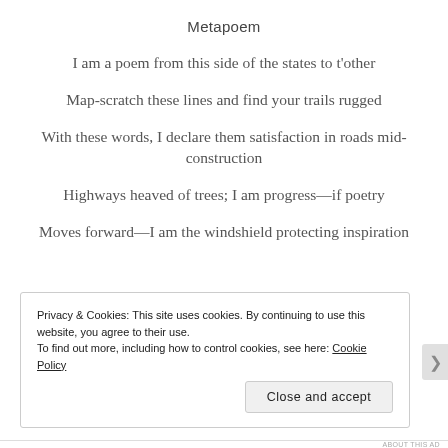Metapoem
I am a poem from this side of the states to t'other
Map-scratch these lines and find your trails rugged
With these words, I declare them satisfaction in roads mid-construction
Highways heaved of trees; I am progress—if poetry
Moves forward—I am the windshield protecting inspiration
Privacy & Cookies: This site uses cookies. By continuing to use this website, you agree to their use.
To find out more, including how to control cookies, see here: Cookie Policy
Close and accept